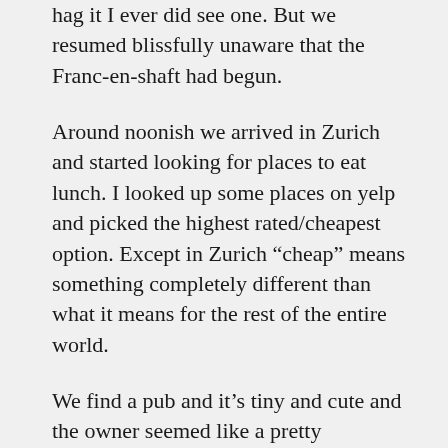hag it I ever did see one.  But we resumed blissfully unaware that the Franc-en-shaft had begun.
Around noonish we arrived in Zurich and started looking for places to eat lunch.  I looked up some places on yelp and picked the highest rated/cheapest option.  Except in Zurich “cheap” means something completely different than what it means for the rest of the entire world.
We find a pub and it’s tiny and cute and the owner seemed like a pretty authentic, rough around the edges kind of guy.  Thankfully, my brother speaks German which earned us just a touch more respect than perhaps other American tourists would have.  He plopped down menus in front of us, and gave us all of 3 seconds to look it over and figure it out.  All the while standing impatiently over us waiting for